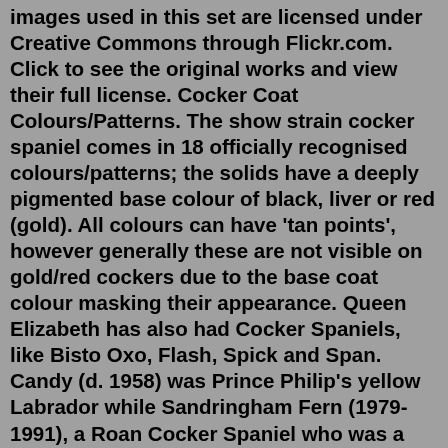images used in this set are licensed under Creative Commons through Flickr.com. Click to see the original works and view their full license. Cocker Coat Colours/Patterns. The show strain cocker spaniel comes in 18 officially recognised colours/patterns; the solids have a deeply pigmented base colour of black, liver or red (gold). All colours can have 'tan points', however generally these are not visible on gold/red cockers due to the base coat colour masking their appearance. Queen Elizabeth has also had Cocker Spaniels, like Bisto Oxo, Flash, Spick and Span. Candy (d. 1958) was Prince Philip's yellow Labrador while Sandringham Fern (1979-1991), a Roan Cocker Spaniel who was a "tireless worker" of "mischievous character".The Cocker Spaniel parent may cause this pup to shed more heavily than a purebred Bichon Frise . The cockachon's fur can come in many different colors including white, cream, black and brown Choose a breeder to work with by considering the following questions: Is this person's house clean?Train your cocker spaniel or use your